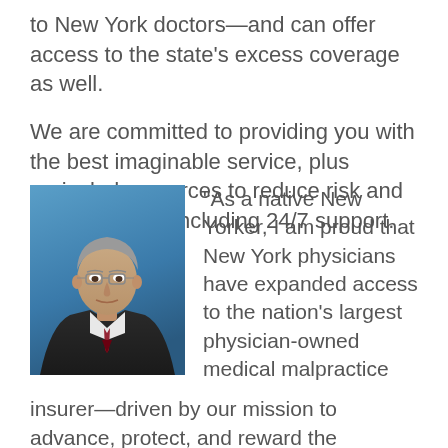to New York doctors—and can offer access to the state's excess coverage as well.
We are committed to providing you with the best imaginable service, plus unrivaled resources to reduce risk and avoid claims—including 24/7 support.
[Figure (photo): Professional headshot of a middle-aged man with gray hair, glasses, wearing a suit and tie against a blue background.]
“As a native New Yorker, I am proud that New York physicians have expanded access to the nation’s largest physician-owned medical malpractice insurer—driven by our mission to advance, protect, and reward the